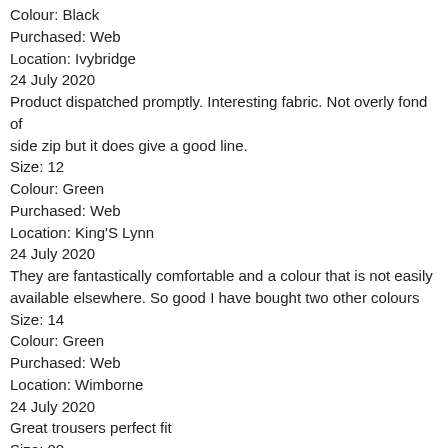Colour: Black
Purchased: Web
Location: Ivybridge
24 July 2020
Product dispatched promptly. Interesting fabric. Not overly fond of side zip but it does give a good line.
Size: 12
Colour: Green
Purchased: Web
Location: King'S Lynn
24 July 2020
They are fantastically comfortable and a colour that is not easily available elsewhere. So good I have bought two other colours
Size: 14
Colour: Green
Purchased: Web
Location: Wimborne
24 July 2020
Great trousers perfect fit
Size: 08
Colour: Black
Purchased: Web
Location: Harrogate
23 July 2020
Love them this my second pair , beautifully tailored & lovely light fabric which washes great